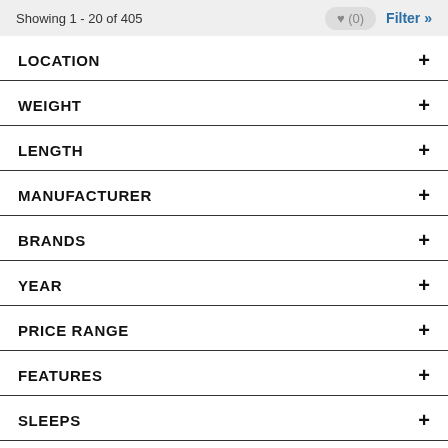Showing 1 - 20 of 405
LOCATION +
WEIGHT +
LENGTH +
MANUFACTURER +
BRANDS +
YEAR +
PRICE RANGE +
FEATURES +
SLEEPS +
SLIDES +